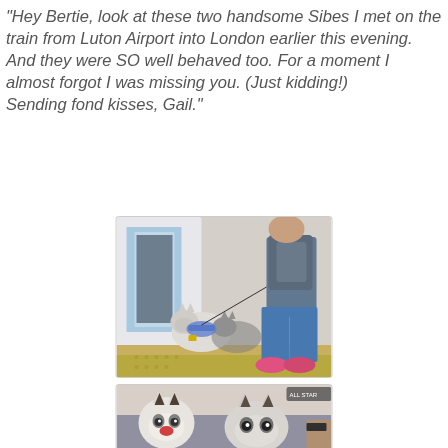"Hey Bertie, look at these two handsome Sibes I met on the train from Luton Airport into London earlier this evening. And they were SO well behaved too. For a moment I almost forgot I was missing you. (Just kidding!) Sending fond kisses, Gail."
[Figure (photo): Photo of two Siberian Husky dogs on a train platform near open train doors, being walked by a person wearing a backpack, blue jeans, and pink shoes. The dogs wear harnesses.]
[Figure (photo): Photo of two Siberian Husky dogs sitting, viewed from behind/side, with a person sitting in the background on what appears to be a train seat.]